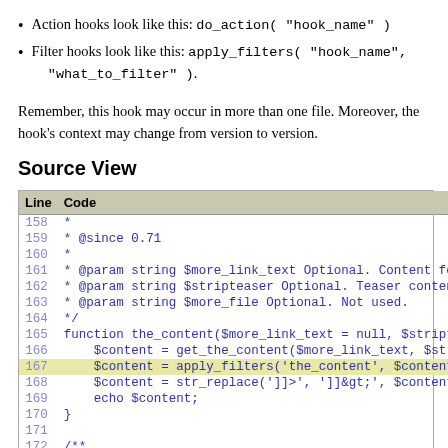Action hooks look like this: do_action( "hook_name" )
Filter hooks look like this: apply_filters( "hook_name", "what_to_filter" ).
Remember, this hook may occur in more than one file. Moreover, the hook's context may change from version to version.
Source View
| Line | Code |
| --- | --- |
| 158 | * |
| 159 | * @since 0.71 |
| 160 | * |
| 161 | * @param string $more_link_text Optional. Content fo |
| 162 | * @param string $stripteaser Optional. Teaser conten |
| 163 | * @param string $more_file Optional. Not used. |
| 164 | */ |
| 165 | function the_content($more_link_text = null, $stripte |
| 166 |     $content = get_the_content($more_link_text, $str |
| 167 |     $content = apply_filters('the_content', $content |
| 168 |     $content = str_replace(']]>', ']]&gt;', $content |
| 169 |     echo $content; |
| 170 | } |
| 171 |  |
| 172 | /** |